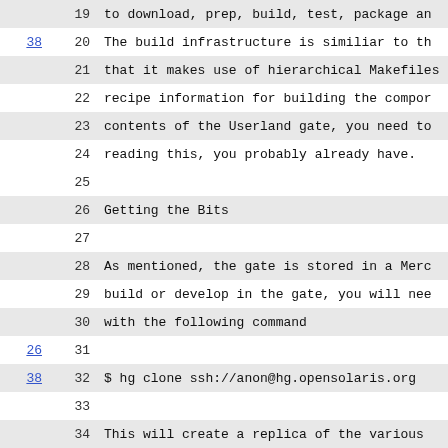| ref | line | text |
| --- | --- | --- |
|  | 19 | to download, prep, build, test, package an |
| 38 | 20 | The build infrastructure is similiar to th |
|  | 21 | that it makes use of hierarchical Makefiles |
|  | 22 | recipe information for building the compor |
|  | 23 | contents of the Userland gate, you need to |
|  | 24 | reading this, you probably already have. |
|  | 25 |  |
|  | 26 | Getting the Bits |
|  | 27 |  |
|  | 28 | As mentioned, the gate is stored in a Merc |
|  | 29 | build or develop in the gate, you will nee |
|  | 30 | with the following command |
| 26 | 31 |  |
| 38 | 32 |     $ hg clone ssh://anon@hg.opensolaris.org |
|  | 33 |  |
|  | 34 | This will create a replica of the various |
|  | 35 | source code management system, but it does |
|  | 36 | source archives associated with the gate c |
|  | 37 | community source associated with your clor |
|  | 38 | execute the following: |
|  | 39 |  |
|  | 40 |     $ cd /scratch/clone/components |